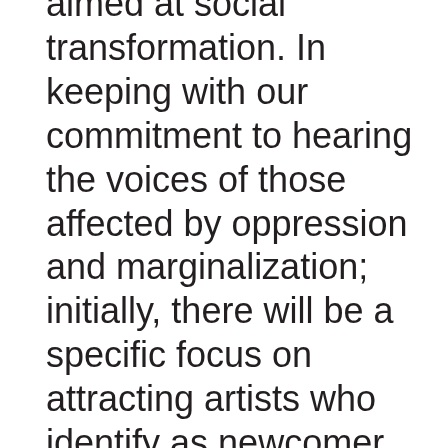aimed at social transformation. In keeping with our commitment to hearing the voices of those affected by oppression and marginalization; initially, there will be a specific focus on attracting artists who identify as newcomer Canadians and LGTBQ elders and youth - populations who have self-identified as needing support in our growing and changing community. The collaborative projects created through this facilitation would be presented under the auspices of Alex House. Our intention would be to work with the artists to organize and promote public events, connecting them to a larger engagement strategy. Rather than be